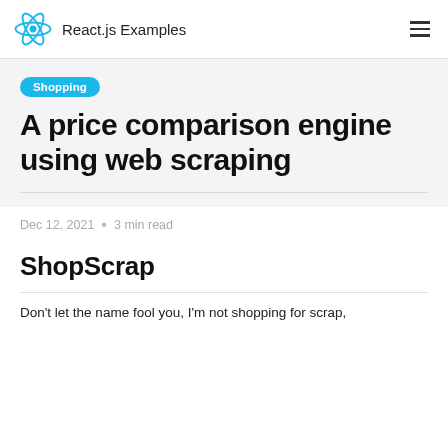React.js Examples
Shopping
A price comparison engine using web scraping
Dec 12, 2021  •  3 min read
ShopScrap
Don't let the name fool you, I'm not shopping for scrap,